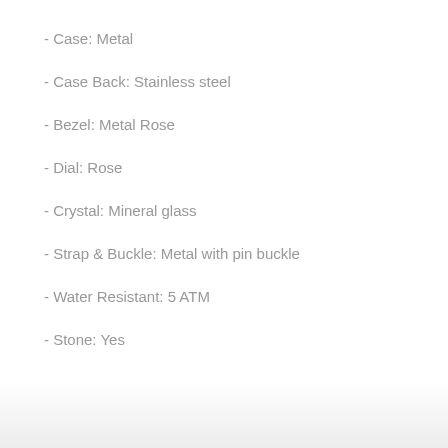- Case: Metal
- Case Back: Stainless steel
- Bezel: Metal Rose
- Dial: Rose
- Crystal: Mineral glass
- Strap & Buckle: Metal with pin buckle
- Water Resistant: 5 ATM
- Stone: Yes